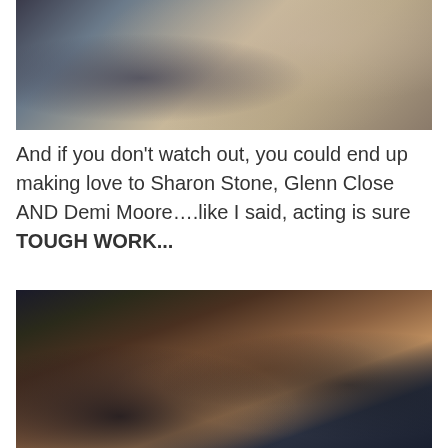[Figure (photo): Close-up photo of two people embracing or in an intimate scene, one wearing a watch, warm and dark tones]
And if you don't watch out, you could end up making love to Sharon Stone, Glenn Close AND Demi Moore….like I said, acting is sure TOUGH WORK...
[Figure (photo): Movie still of two people in a close intimate moment, dramatic lighting with dark background and warm backlight]